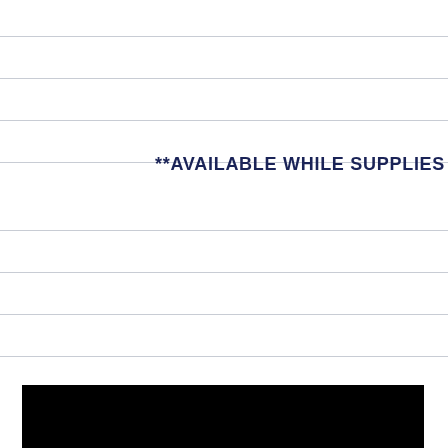**AVAILABLE WHILE SUPPLIES
[Figure (other): Black rectangular bar at the bottom of the page]